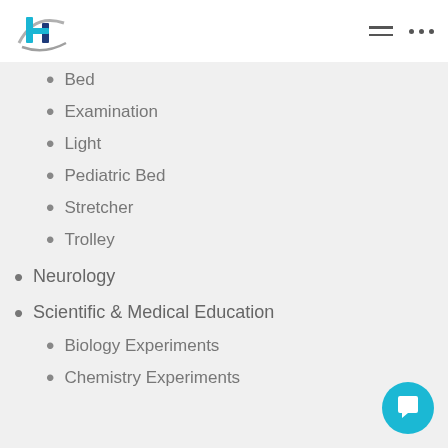[Figure (logo): Medical company logo with stylized H and swoosh in teal/blue and gray]
Bed
Examination
Light
Pediatric Bed
Stretcher
Trolley
Neurology
Scientific & Medical Education
Biology Experiments
Chemistry Experiments